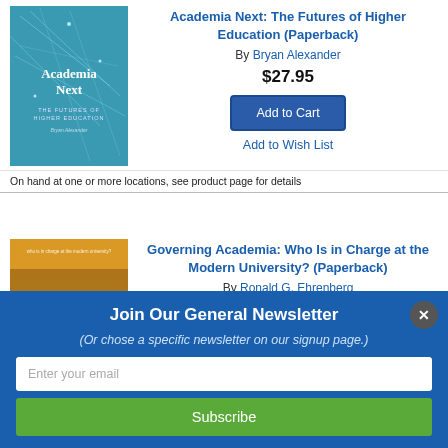[Figure (illustration): Book cover for Academia Next: The Futures of Higher Education by Bryan Alexander, teal/blue geometric design]
Academia Next: The Futures of Higher Education (Paperback)
By Bryan Alexander
$27.95
Add to Cart
Add to Wish List
On hand at one or more locations, see product page for details
[Figure (photo): Book cover for Governing Academia: Who Is in Charge at the Modern University? dark image with chairs]
Governing Academia: Who Is in Charge at the Modern University? (Paperback)
By Ronald G. Ehrenberg
Join Our General Newsletter
(Or chose a specific newsletter on our signup page.)
Enter your email
Subscribe